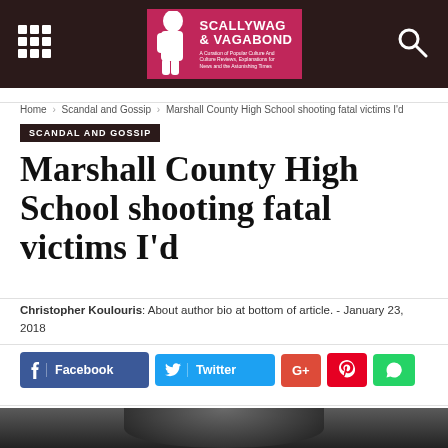Scallywag & Vagabond
Home › Scandal and Gossip › Marshall County High School shooting fatal victims I'd
SCANDAL AND GOSSIP
Marshall County High School shooting fatal victims I'd
Christopher Koulouris: About author bio at bottom of article. - January 23, 2018
[Figure (infographic): Social sharing buttons: Facebook, Twitter, Google+, Pinterest, WhatsApp]
[Figure (photo): Partial photo of a person (bottom of page), dark background]